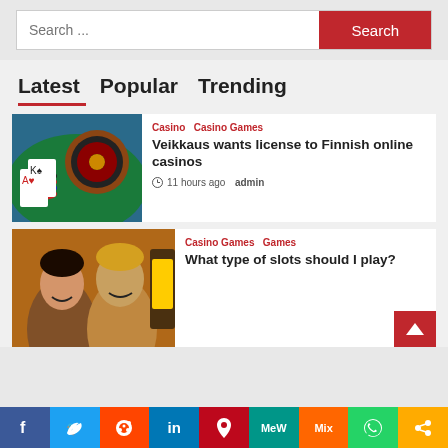[Figure (screenshot): Search bar with text input field showing 'Search ...' placeholder and a red 'Search' button]
Latest  Popular  Trending
[Figure (photo): Casino table with roulette wheel, playing cards and poker chips]
Casino  Casino Games
Veikkaus wants license to Finnish online casinos
11 hours ago  admin
[Figure (photo): Two women smiling and playing slot machines at a casino]
Casino Games  Games
What type of slots should I play?
[Figure (infographic): Social media sharing bar with icons for Facebook, Twitter, Reddit, LinkedIn, Pinterest, MeWe, Mix, WhatsApp, and Share]